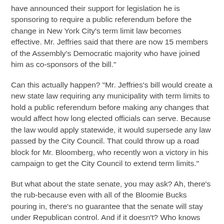have announced their support for legislation he is sponsoring to require a public referendum before the change in New York City's term limit law becomes effective. Mr. Jeffries said that there are now 15 members of the Assembly's Democratic majority who have joined him as co-sponsors of the bill."
Can this actually happen? "Mr. Jeffries's bill would create a new state law requiring any municipality with term limits to hold a public referendum before making any changes that would affect how long elected officials can serve. Because the law would apply statewide, it would supersede any law passed by the City Council. That could throw up a road block for Mr. Bloomberg, who recently won a victory in his campaign to get the City Council to extend term limits."
But what about the state senate, you may ask? Ah, there's the rub-because even with all of the Bloomie Bucks pouring in, there's no guarantee that the senate will stay under Republican control. And if it doesn't? Who knows just how far this bit of preposturousness will go. As Hakim Jeffries says: "The fix was in at City Hall and democracy did not stand a